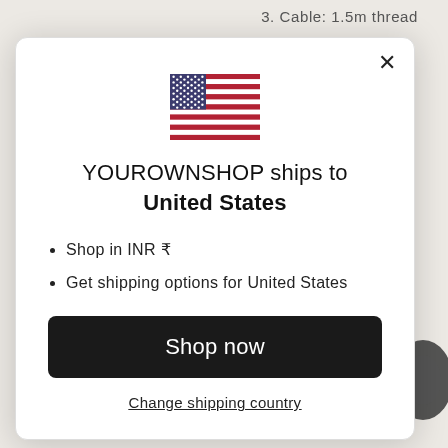3. Cable: 1.5m thread
[Figure (illustration): US flag emoji/icon centered in modal]
YOUROWNSHOP ships to United States
Shop in INR ₹
Get shipping options for United States
Shop now
Change shipping country
Audio-
V-MODA